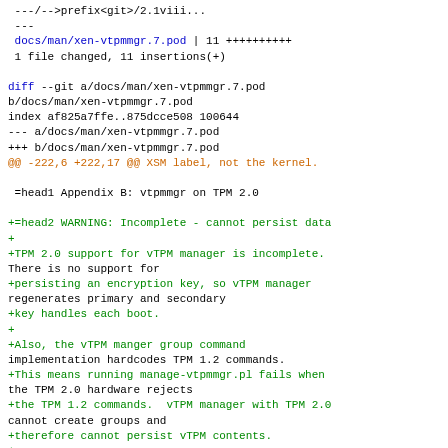diff output showing changes to docs/man/xen-vtpmmgr.7.pod with git diff, index, file changed stats, and added content for Appendix B: vtpmmgr on TPM 2.0 with WARNING about incomplete TPM 2.0 support